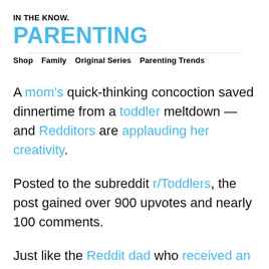IN THE KNOW.
PARENTING
Shop   Family   Original Series   Parenting Trends
A mom's quick-thinking concoction saved dinnertime from a toddler meltdown — and Redditors are applauding her creativity.
Posted to the subreddit r/Toddlers, the post gained over 900 upvotes and nearly 100 comments.
Just like the Reddit dad who received an